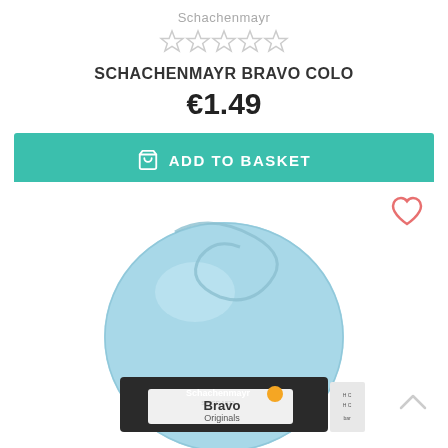Schachenmayr
[Figure (other): Five empty star rating icons in a row]
SCHACHENMAYR BRAVO COLO
€1.49
[Figure (other): Teal/green ADD TO BASKET button with shopping bag icon]
[Figure (photo): A ball of light blue yarn with Schachenmayr Bravo Originals label wrapped around it]